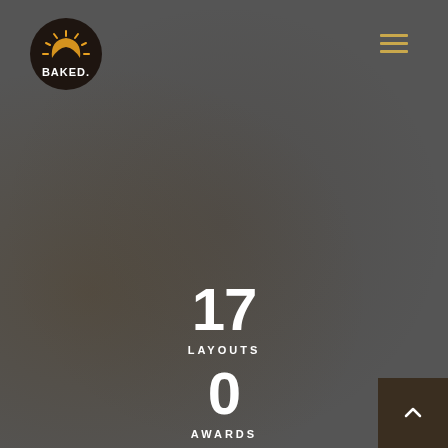[Figure (logo): BAKED. bakery logo — dark circle with croissant/sunrise icon and BAKED. text in white]
[Figure (other): Hamburger menu icon — three horizontal golden lines]
17
LAYOUTS
0
AWARDS
24
CUPS OF COFFEE
2
[Figure (other): Back to top button — dark brown square with white upward chevron arrow]